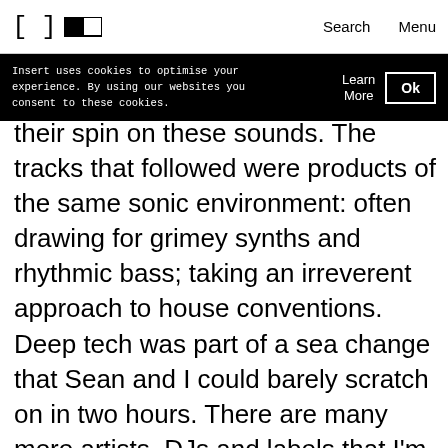[ ]  [toggle]  Search  Menu
Insert uses cookies to optimise your experience. By using our websites you consent to these cookies.  Learn More  Ok
their spin on these sounds. The tracks that followed were products of the same sonic environment: often drawing for grimey synths and rhythmic bass; taking an irreverent approach to house conventions. Deep tech was part of a sea change that Sean and I could barely scratch on in two hours. There are many more artists, DJs and labels that I'm sure other people will highlight as the written coverage this scene has long been overdue comes out.
Beyond the sound, it was the raves, the shuffling and the community of dancers that